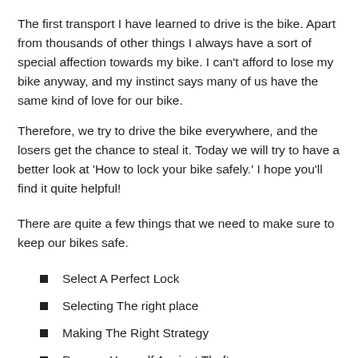The first transport I have learned to drive is the bike. Apart from thousands of other things I always have a sort of special affection towards my bike. I can't afford to lose my bike anyway, and my instinct says many of us have the same kind of love for our bike.
Therefore, we try to drive the bike everywhere, and the losers get the chance to steal it. Today we will try to have a better look at 'How to lock your bike safely.' I hope you'll find it quite helpful!
There are quite a few things that we need to make sure to keep our bikes safe.
Select A Perfect Lock
Selecting The right place
Making The Right Strategy
Prepare Yourself Against Theft
How To Recover If You Fail To Secure The Bike?